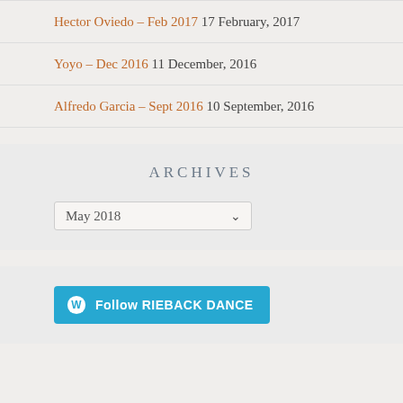Hector Oviedo – Feb 2017 17 February, 2017
Yoyo – Dec 2016 11 December, 2016
Alfredo Garcia – Sept 2016 10 September, 2016
ARCHIVES
May 2018 (dropdown)
[Figure (other): Follow RIEBACK DANCE button with WordPress logo]